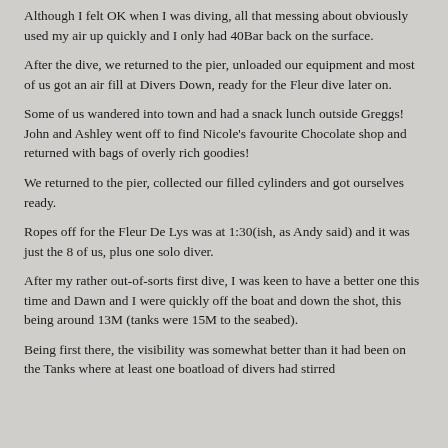Although I felt OK when I was diving, all that messing about obviously used my air up quickly and I only had 40Bar back on the surface.
After the dive, we returned to the pier, unloaded our equipment and most of us got an air fill at Divers Down, ready for the Fleur dive later on.
Some of us wandered into town and had a snack lunch outside Greggs! John and Ashley went off to find Nicole's favourite Chocolate shop and returned with bags of overly rich goodies!
We returned to the pier, collected our filled cylinders and got ourselves ready.
Ropes off for the Fleur De Lys was at 1:30(ish, as Andy said) and it was just the 8 of us, plus one solo diver.
After my rather out-of-sorts first dive, I was keen to have a better one this time and Dawn and I were quickly off the boat and down the shot, this being around 13M (tanks were 15M to the seabed).
Being first there, the visibility was somewhat better than it had been on the Tanks where at least one boatload of divers had stirred